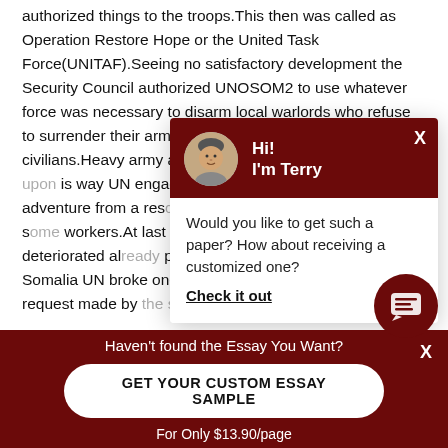authorized things to the troops.This then was called as Operation Restore Hope or the United Task Force(UNITAF).Seeing no satisfactory development the Security Council authorized UNOSOM2 to use whatever force was necessary to disarm local warlords who refuse to surrender their arms and to ensure access to suffering civilians.Heavy army and cobra helicopters were called ... is way UN engaged itself to the ... military adventure from a res... retaliation local militia killed s... workers.At last UN had to wi... which further deteriorated al... performance has been very ... n Somalia UN broke one of its ... without any request made by the state.It also showed ...
[Figure (other): Chat popup overlay with avatar of Terry, greeting 'Hi! I'm Terry', and message 'Would you like to get such a paper? How about receiving a customized one?' with 'Check it out' link]
[Figure (other): Dark red circular chat bubble button icon in bottom right area]
Haven't found the Essay You Want?
GET YOUR CUSTOM ESSAY SAMPLE
For Only $13.90/page